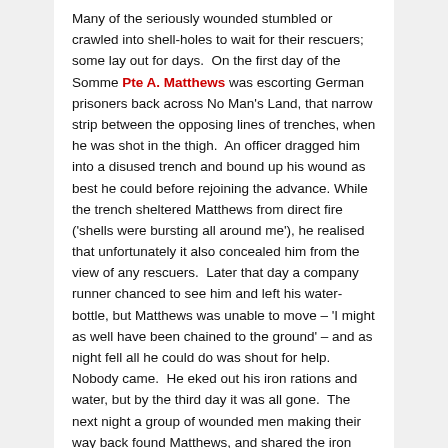Many of the seriously wounded stumbled or crawled into shell-holes to wait for their rescuers; some lay out for days. On the first day of the Somme Pte A. Matthews was escorting German prisoners back across No Man's Land, that narrow strip between the opposing lines of trenches, when he was shot in the thigh. An officer dragged him into a disused trench and bound up his wound as best he could before rejoining the advance. While the trench sheltered Matthews from direct fire ('shells were bursting all around me'), he realised that unfortunately it also concealed him from the view of any rescuers. Later that day a company runner chanced to see him and left his water-bottle, but Matthews was unable to move – 'I might as well have been chained to the ground' – and as night fell all he could do was shout for help. Nobody came. He eked out his iron rations and water, but by the third day it was all gone. The next night a group of wounded men making their way back found Matthews, and shared the iron rations they had scavenged from the dead. They could do no more for him, but promised to get help. An hour or two later they returned, disoriented, and set off in a different direction